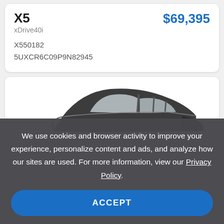X5
xDrive40i
$69,395
X550182
5UXCR6C09P9N82945
[Figure (photo): Partial view of a dark-colored BMW X5 SUV, showing the roof and upper body from a side-front angle against a white background.]
We use cookies and browser activity to improve your experience, personalize content and ads, and analyze how our sites are used. For more information, view our Privacy Policy.
ACCEPT